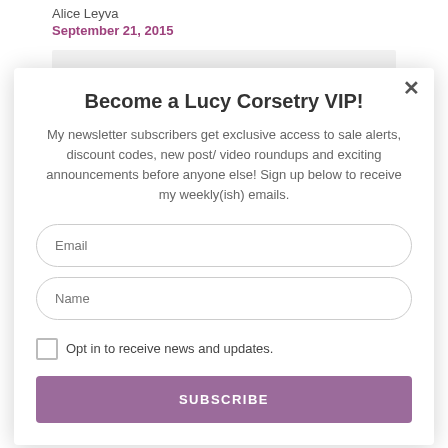Alice Leyva
September 21, 2015
I will take a time to watch your tutorials.
Become a Lucy Corsetry VIP!
My newsletter subscribers get exclusive access to sale alerts, discount codes, new post/ video roundups and exciting announcements before anyone else! Sign up below to receive my weekly(ish) emails.
Email
Name
Opt in to receive news and updates.
SUBSCRIBE